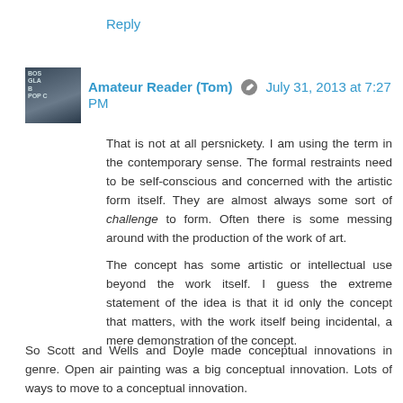Reply
Amateur Reader (Tom)  July 31, 2013 at 7:27 PM
That is not at all persnickety. I am using the term in the contemporary sense. The formal restraints need to be self-conscious and concerned with the artistic form itself. They are almost always some sort of challenge to form. Often there is some messing around with the production of the work of art.
The concept has some artistic or intellectual use beyond the work itself. I guess the extreme statement of the idea is that it id only the concept that matters, with the work itself being incidental, a mere demonstration of the concept.
So Scott and Wells and Doyle made conceptual innovations in genre. Open air painting was a big conceptual innovation. Lots of ways to move to a conceptual innovation.